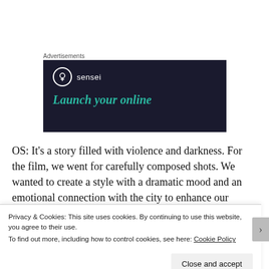Advertisements
[Figure (illustration): Dark navy advertisement banner for 'sensei' with white circle logo containing a tree icon, the text 'sensei' in white, and the headline 'Launch your online' in teal/green italic text.]
OS: It's a story filled with violence and darkness. For the film, we went for carefully composed shots. We wanted to create a style with a dramatic mood and an emotional connection with the city to enhance our characters'
Privacy & Cookies: This site uses cookies. By continuing to use this website, you agree to their use.
To find out more, including how to control cookies, see here: Cookie Policy
Close and accept